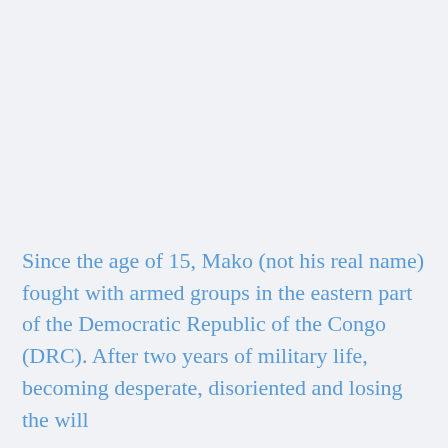Since the age of 15, Mako (not his real name) fought with armed groups in the eastern part of the Democratic Republic of the Congo (DRC). After two years of military life, becoming desperate, disoriented and losing the will